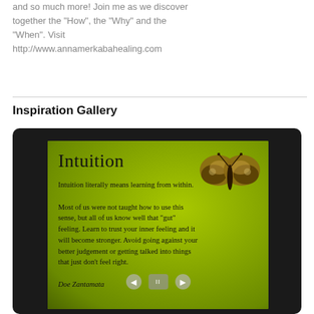and so much more! Join me as we discover together the "How", the "Why" and the "When". Visit http://www.annamerkabahealing.com
Inspiration Gallery
[Figure (photo): A slideshow gallery frame showing a green-background inspirational quote image about Intuition with a butterfly graphic. The text reads: 'Intuition. Intuition literally means learning from within. Most of us were not taught how to use this sense, but all of us know well that “gut” feeling. Learn to trust your inner feeling and it will become stronger. Avoid going against your better judgement or getting talked into things that just don’t feel right. Doe Zantamata']